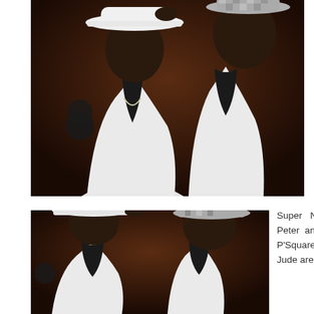[Figure (photo): Two men wearing white blazers and hats (one white fedora, one checkered/silver hat) against a dark brown background, styled in a music press promotional photo. The man on the left tips his hat while wearing a beaded bracelet.]
[Figure (photo): Same two men in white blazers and hats photographed from a slightly lower angle, cropped version of the top photo, with a dark brown background.]
Super Nigerian pop duo, Peter and Paul Okoye, P'Square, and their brother Jude are back